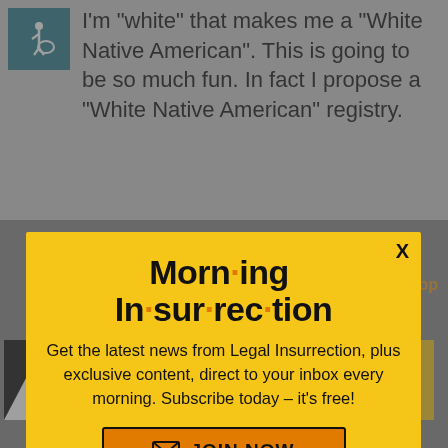I'm “white” that makes me a “White Native American”. This is going to be so much fun. In fact I propose a “White Native American” registry.
[Figure (other): Wheelchair accessibility icon in teal/dark teal square]
[Figure (screenshot): Morning Insurrection newsletter signup popup overlay on article page. Yellow background popup with bold stylized title 'Morn·ing In·sur·rec·tion', subscription call-to-action text, and orange JOIN NOW button. Partially visible article text behind popup. Small dismissal X button. Bottom ad banner for 'THE PERSPECTIVE' reading 'SEE WHAT YOU’RE MISSING'.]
Get the latest news from Legal Insurrection, plus exclusive content, direct to your inbox every morning. Subscribe today – it’s free!
JOIN NOW
who’s a real Indian calls himself herself, India
Back to top
THE PERSPECTIVE SEE WHAT YOU’RE MISSING READ MORE
Cherokee People know it, and she